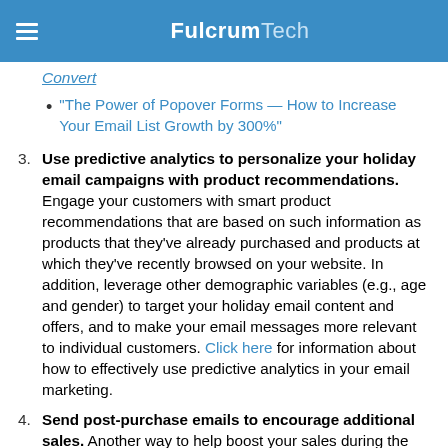FulcrumTech
"The Power of Popover Forms — How to Increase Your Email List Growth by 300%"
3. Use predictive analytics to personalize your holiday email campaigns with product recommendations. Engage your customers with smart product recommendations that are based on such information as products that they've already purchased and products at which they've recently browsed on your website. In addition, leverage other demographic variables (e.g., age and gender) to target your holiday email content and offers, and to make your email messages more relevant to individual customers. Click here for information about how to effectively use predictive analytics in your email marketing.
4. Send post-purchase emails to encourage additional sales. Another way to help boost your sales during the holidays is to design and implement triggered emails to be sent to customers soon after they make a purchase. Include discounts on future purchases, as well as product recommendations based on their previous purchases.
5. Create gift guides and design email campaigns